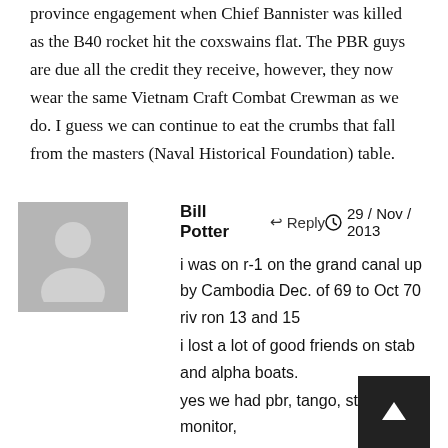province engagement when Chief Bannister was killed as the B40 rocket hit the coxswains flat. The PBR guys are due all the credit they receive, however, they now wear the same Vietnam Craft Combat Crewman as we do. I guess we can continue to eat the crumbs that fall from the masters (Naval Historical Foundation) table.
Bill Potter   ↩ Reply   🕐 29 / Nov / 2013
[Figure (illustration): Generic user avatar: gray square with a white silhouette of a person]
i was on r-1 on the grand canal up by Cambodia Dec. of 69 to Oct 70 riv ron 13 and 15
i lost a lot of good friends on stab and alpha boats.
yes we had pbr, tango, stabs and monitor,
the brown water navy was not only pbr boats